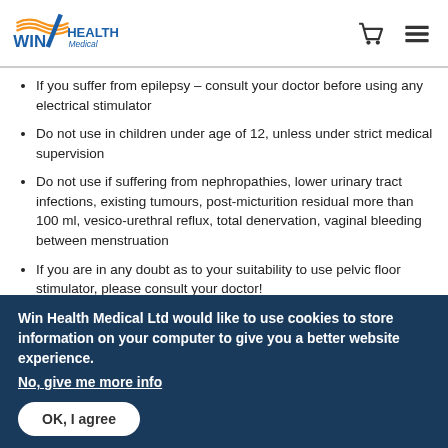Win Health Medical logo, cart icon, menu icon
If you suffer from epilepsy – consult your doctor before using any electrical stimulator
Do not use in children under age of 12, unless under strict medical supervision
Do not use if suffering from nephropathies, lower urinary tract infections, existing tumours, post-micturition residual more than 100 ml, vesico-urethral reflux, total denervation, vaginal bleeding between menstruation
If you are in any doubt as to your suitability to use pelvic floor stimulator, please consult your doctor!
evoStim UG Perineal Stimulator – your perfect
Win Health Medical Ltd would like to use cookies to store information on your computer to give you a better website experience. No, give me more info
OK, I agree